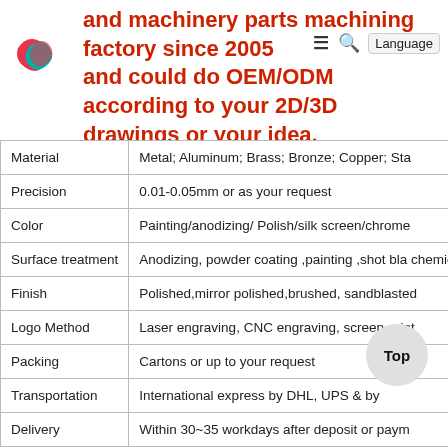and machinery parts machining factory since 2005 and could do OEM/ODM according to your 2D/3D drawings or your idea.
| Property | Value |
| --- | --- |
| Material | Metal; Aluminum; Brass; Bronze; Copper; Sta... |
| Precision | 0.01-0.05mm or as your request |
| Color | Painting/anodizing/ Polish/silk screen/chrome... |
| Surface treatment | Anodizing, powder coating ,painting ,shot bla... chemical galvanizing, chrome plating , nickel... |
| Finish | Polished,mirror polished,brushed, sandblasted... |
| Logo Method | Laser engraving, CNC engraving, screen-print... |
| Packing | Cartons or up to your request |
| Transportation | International express by DHL, UPS... & by... |
| Delivery | Within 30~35 workdays after deposit or paym... |